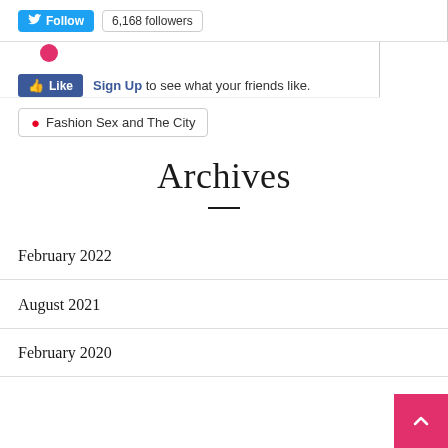[Figure (screenshot): Twitter Follow button with 6,168 followers count button]
[Figure (screenshot): Facebook Like button with avatar, Sign Up link and text 'to see what your friends like.']
[Figure (screenshot): Pinterest button labeled 'Fashion Sex and The City']
Archives
February 2022
August 2021
February 2020